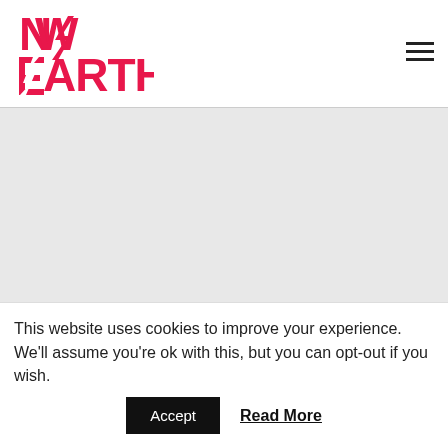[Figure (logo): New Earth logo in pink/red with stylized N and E letters]
PRODUCERS FIRST
Champions, News, What's On / by Kumiko Mendl
This website uses cookies to improve your experience. We'll assume you're ok with this, but you can opt-out if you wish.
Accept  Read More